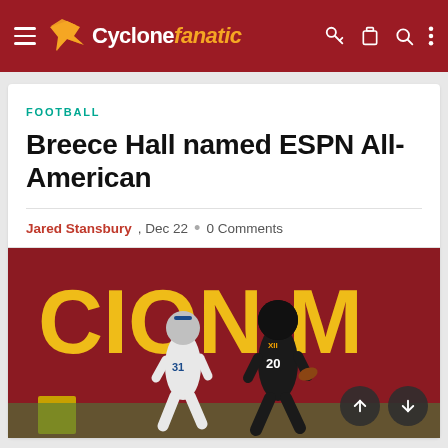Cyclone fanatic
FOOTBALL
Breece Hall named ESPN All-American
Jared Stansbury, Dec 22 • 0 Comments
[Figure (photo): Football player wearing black Iowa State uniform #20 running on field, pursued by Kansas State player #31 in white uniform, with Iowa State Cyclones red stadium signage in background.]